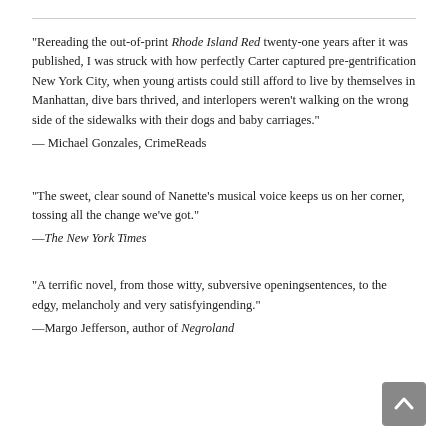“Rereading the out-of-print Rhode Island Red twenty-one years after it was published, I was struck with how perfectly Carter captured pre-gentrification New York City, when young artists could still afford to live by themselves in Manhattan, dive bars thrived, and interlopers weren’t walking on the wrong side of the sidewalks with their dogs and baby carriages.” — Michael Gonzales, CrimeReads
“The sweet, clear sound of Nanette’s musical voice keeps us on her corner, tossing all the change we’ve got.” —The New York Times
“A terrific novel, from those witty, subversive openingsentences, to the edgy, melancholy and very satisfyingending.” —Margo Jefferson, author of Negroland